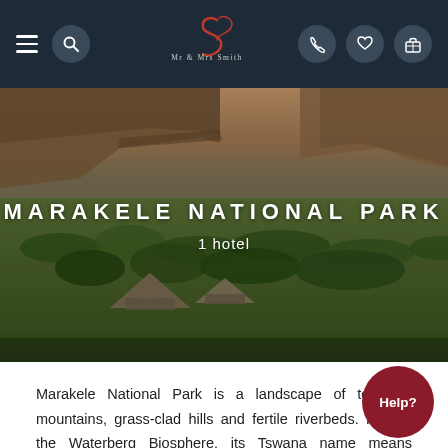Mr & Mrs Smith navigation bar with logo, hamburger menu, search, phone, wishlist, and bag icons
[Figure (photo): Aerial landscape photo of Marakele National Park showing towering flat-topped cliffs, lush green bushveld, and two safari tents in the foreground at golden hour]
MARAKELE NATIONAL PARK
1 hotel
Marakele National Park is a landscape of towering mountains, grass-clad hills and fertile riverbeds. Part of the Waterberg Biosphere, its Tswana name means sanctuary: this malaria-free expanse of bushveld is now home to an impressive variety of wildlife.
[Figure (photo): Partially visible mountain landscape photo with blue sky and clouds at the bottom of the page]
Help?